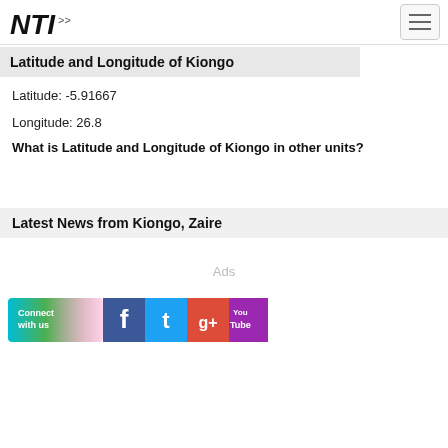NTI logo and navigation
Latitude and Longitude of Kiongo
Latitude: -5.91667
Longitude: 26.8
What is Latitude and Longitude of Kiongo in other units?
Latest News from Kiongo, Zaire
Ads
[Figure (infographic): Connect with us social media banner showing Facebook, Twitter, Google+, and YouTube icons]